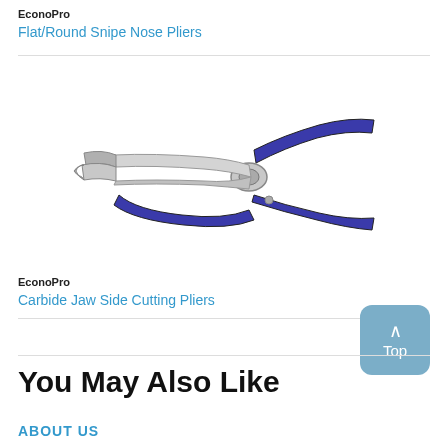EconoPro
Flat/Round Snipe Nose Pliers
[Figure (photo): EconoPro Carbide Jaw Side Cutting Pliers with blue handles, shown at an angle]
EconoPro
Carbide Jaw Side Cutting Pliers
You May Also Like
ABOUT US